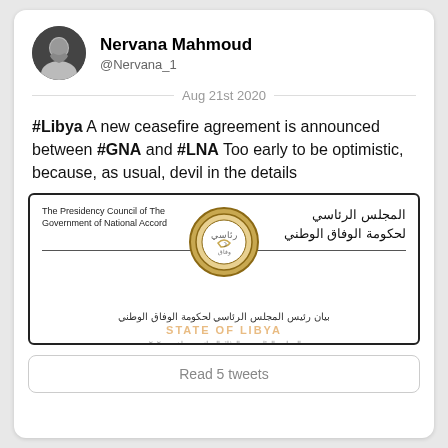Nervana Mahmoud
@Nervana_1
Aug 21st 2020
#Libya A new ceasefire agreement is announced between #GNA and #LNA Too early to be optimistic, because, as usual, devil in the details
[Figure (photo): Scanned document from The Presidency Council of The Government of National Accord (GNA) with Arabic text and official seal]
Read 5 tweets